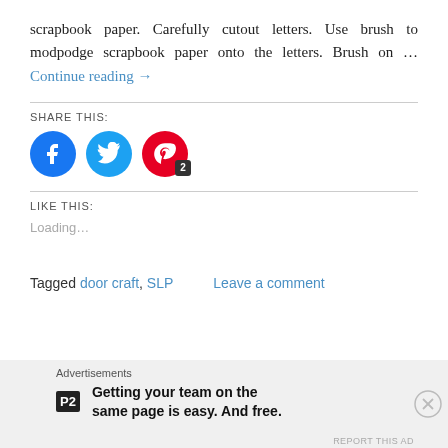scrapbook paper. Carefully cutout letters. Use brush to modpodge scrapbook paper onto the letters. Brush on … Continue reading →
SHARE THIS:
[Figure (other): Social sharing icons: Facebook (blue circle), Twitter (blue circle), Pinterest (red circle with P and badge '2')]
LIKE THIS:
Loading…
Tagged door craft, SLP    Leave a comment
Advertisements  Getting your team on the same page is easy. And free.